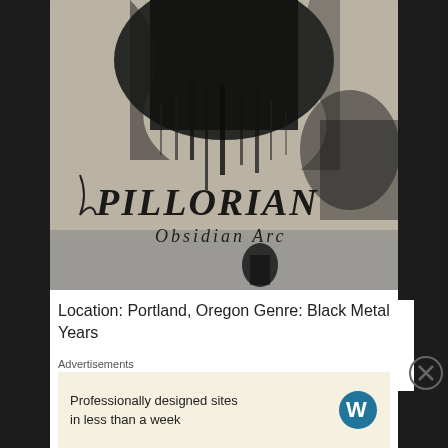[Figure (illustration): Black and white album cover for Pillorian - Obsidian Arc. Dark abstract imagery with the band name 'PILLORIAN' in gothic lettering and 'Obsidian Arc' in stylized script below it.]
Location: Portland, Oregon Genre: Black Metal Years
Active: 2016-present Discography: 1 full length album
Advertisements
Professionally designed sites in less than a week